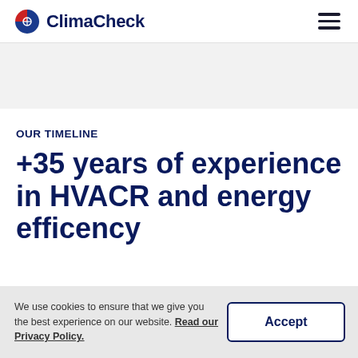ClimaCheck
[Figure (logo): ClimaCheck logo with red and blue circular icon and dark blue wordmark text]
OUR TIMELINE
+35 years of experience in HVACR and energy efficency
We use cookies to ensure that we give you the best experience on our website. Read our Privacy Policy.